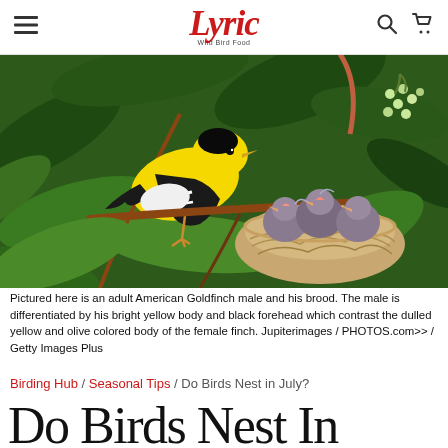Lyric Wild Bird Food — navigation header with hamburger menu, logo, search, and cart icons
[Figure (photo): Adult male American Goldfinch with bright yellow body and black forehead perched beside a nest containing young chicks (brood), surrounded by green foliage. The nest is woven with fibrous material. The chicks appear fuzzy and grey.]
Pictured here is an adult American Goldfinch male and his brood. The male is differentiated by his bright yellow body and black forehead which contrast the dulled yellow and olive colored body of the female finch. Jupiterimages / PHOTOS.com>> / Getty Images Plus
Birding Hub / Seasonal Tips / Do Birds Nest in July?
Do Birds Nest In